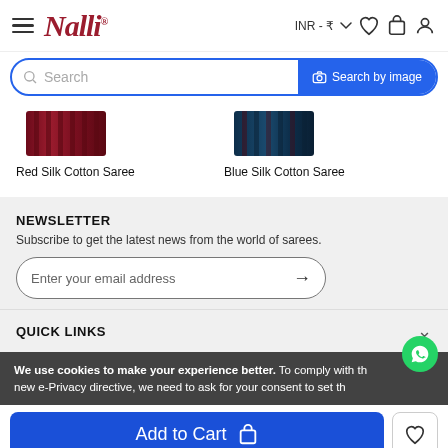Nalli — INR ₹
[Figure (screenshot): Search bar with magnifying glass icon and 'Search by image' blue button]
[Figure (photo): Red Silk Cotton Saree product image]
Red Silk Cotton Saree
[Figure (photo): Blue Silk Cotton Saree product image]
Blue Silk Cotton Saree
NEWSLETTER
Subscribe to get the latest news from the world of sarees.
Enter your email address →
QUICK LINKS
We use cookies to make your experience better. To comply with the new e-Privacy directive, we need to ask for your consent to set th
Add to Cart